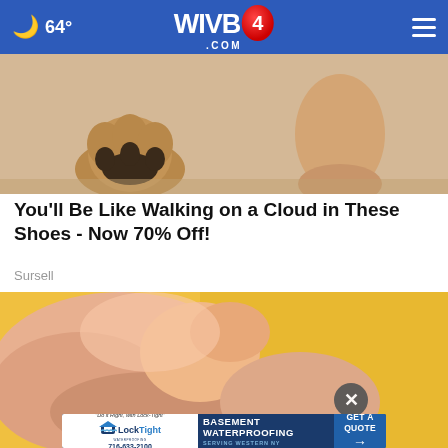64° WIVB4.COM
[Figure (photo): Close-up of a dog paw and a human foot/ankle on a light-colored floor surface]
You'll Be Like Walking on a Cloud in These Shoes - Now 70% Off!
Sursell
[Figure (photo): Close-up of a human foot/ankle being held, yellow background, medical/comfort context]
"Do it Right, with Lock-Tight" LockTight 716-633-2100 BASEMENT WATERPROOFING SERVING WESTERN NY GET A QUOTE →